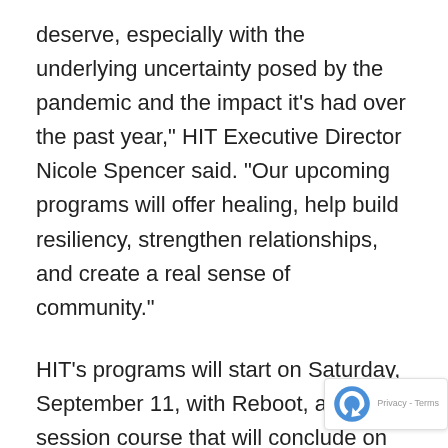deserve, especially with the underlying uncertainty posed by the pandemic and the impact it’s had over the past year,” HIT Executive Director Nicole Spencer said. “Our upcoming programs will offer healing, help build resiliency, strengthen relationships, and create a real sense of community.”
HIT’s programs will start on Saturday, September 11, with Reboot, a five-session course that will conclude on Saturday, October 2. Reboot is intended to give female service members, veterans, and spouses access to skills and strategies that build resiliency, cultivate mindfulness, and foster wellbeing.